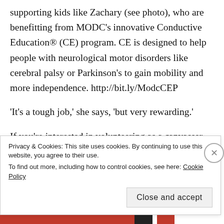supporting kids like Zachary (see photo), who are benefitting from MODC's innovative Conductive Education® (CE) program. CE is designed to help people with neurological motor disorders like cerebral palsy or Parkinson's to gain mobility and more independence. http://bit.ly/ModcCEP
'It's a tough job,' she says, 'but very rewarding.'
If you're interested in volunteering as a canvasser for this year or the following, please email us at
Privacy & Cookies: This site uses cookies. By continuing to use this website, you agree to their use.
To find out more, including how to control cookies, see here: Cookie Policy
Close and accept